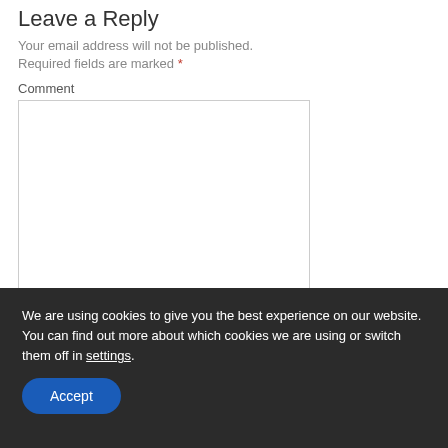Leave a Reply
Your email address will not be published.
Required fields are marked *
Comment
We are using cookies to give you the best experience on our website. You can find out more about which cookies we are using or switch them off in settings.
Accept